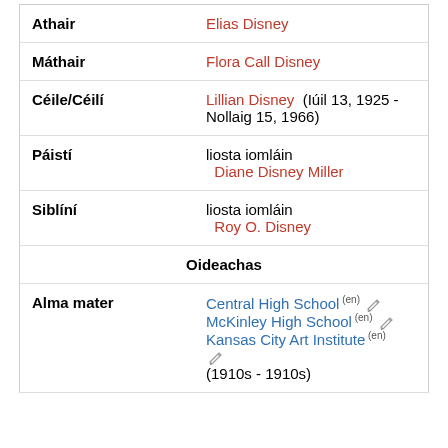| Athair | Elias Disney |
| Máthair | Flora Call Disney |
| Céile/Céilí | Lillian Disney (Iúil 13, 1925 - Nollaig 15, 1966) |
| Páistí | liosta iomláin
Diane Disney Miller |
| Siblíní | liosta iomláin
Roy O. Disney |
| Oideachas |  |
| Alma mater | Central High School (en) McKinley High School (en) Kansas City Art Institute (en) (1910s - 1910s) |